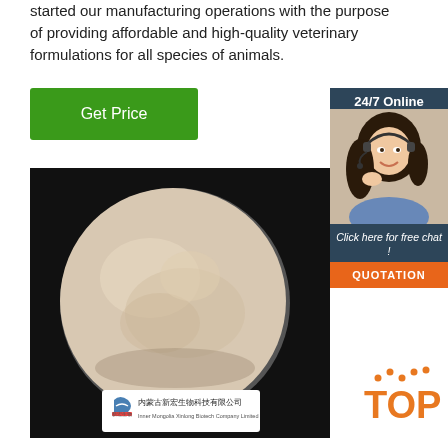started our manufacturing operations with the purpose of providing affordable and high-quality veterinary formulations for all species of animals.
[Figure (other): Green 'Get Price' button]
[Figure (other): 24/7 Online chat widget with photo of woman with headset, 'Click here for free chat!' text, and orange QUOTATION button]
[Figure (photo): Product photo: beige/cream powder in a round petri dish on black background, with company label card showing Inner Mongolia Xinlong Biotech Company Limited logo and Chinese text]
[Figure (logo): Orange 'TOP' badge with dot-arc decoration in bottom right corner]